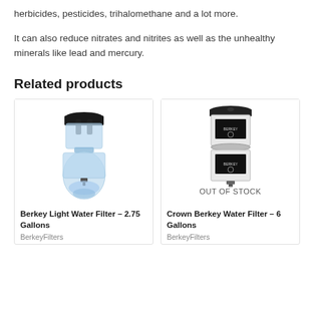herbicides, pesticides, trihalomethane and a lot more.
It can also reduce nitrates and nitrites as well as the unhealthy minerals like lead and mercury.
Related products
[Figure (photo): Berkey Light Water Filter - blue transparent plastic water filter with black top lid and spigot at the bottom]
Berkey Light Water Filter – 2.75 Gallons
BerkeyFilters
[Figure (photo): Crown Berkey Water Filter - stainless steel two-chamber water filter with black accents, labeled OUT OF STOCK]
Crown Berkey Water Filter – 6 Gallons
BerkeyFilters